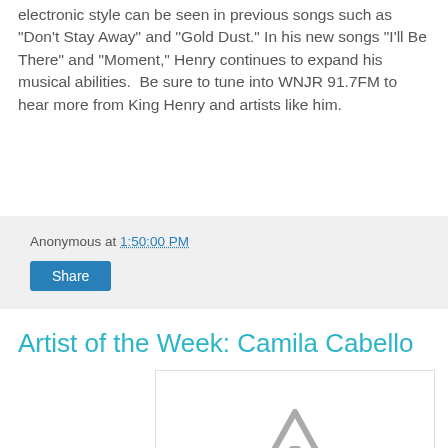electronic style can be seen in previous songs such as "Don't Stay Away" and "Gold Dust." In his new songs "I'll Be There" and "Moment," Henry continues to expand his musical abilities.  Be sure to tune into WNJR 91.7FM to hear more from King Henry and artists like him.
Anonymous at 1:50:00 PM
Share
Artist of the Week: Camila Cabello
[Figure (other): Broken image placeholder with warning triangle icon]